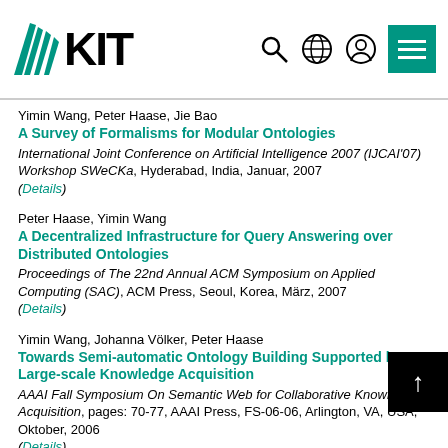KIT logo and navigation header
Yimin Wang, Peter Haase, Jie Bao
A Survey of Formalisms for Modular Ontologies
International Joint Conference on Artificial Intelligence 2007 (IJCAI'07) Workshop SWeCKa, Hyderabad, India, Januar, 2007 (Details)
Peter Haase, Yimin Wang
A Decentralized Infrastructure for Query Answering over Distributed Ontologies
Proceedings of The 22nd Annual ACM Symposium on Applied Computing (SAC), ACM Press, Seoul, Korea, März, 2007 (Details)
Yimin Wang, Johanna Völker, Peter Haase
Towards Semi-automatic Ontology Building Supported by Large-scale Knowledge Acquisition
AAAI Fall Symposium On Semantic Web for Collaborative Knowledge Acquisition, pages: 70-77, AAAI Press, FS-06-06, Arlington, VA, USA, Oktober, 2006 (Details)